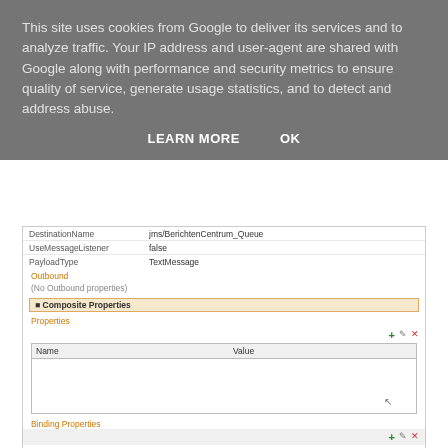This site uses cookies from Google to deliver its services and to analyze traffic. Your IP address and user-agent are shared with Google along with performance and security metrics to ensure quality of service, generate usage statistics, and to detect and address abuse.
LEARN MORE    OK
[Figure (screenshot): UI screenshot showing JMS connection properties including DestinationName (jms/BerichtenCentrum_Queue), UseMessageListener (false), PayloadType (TextMessage), Outbound section with no outbound properties, Composite Properties section with empty Name/Value table and icon toolbar, and Binding Properties section with a table of retry settings: jca.retry.backoff=2, jca.retry.count=4, jca.retry.interval=30, jca.retry.maxInterval=120, usejca.jcaJMSMessageRecovery=true]